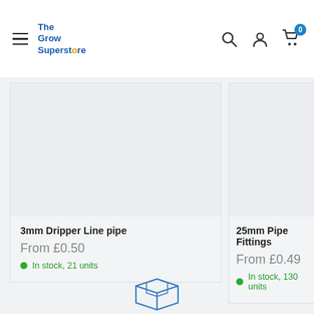The Grow Superstore — navigation header with hamburger menu, logo, search, account, and cart icons
3mm Dripper Line pipe
From £0.50
In stock, 21 units
25mm Pipe Fittings
From £0.49
In stock, 130 units
[Figure (illustration): Box/parcel icon at the bottom of the page]